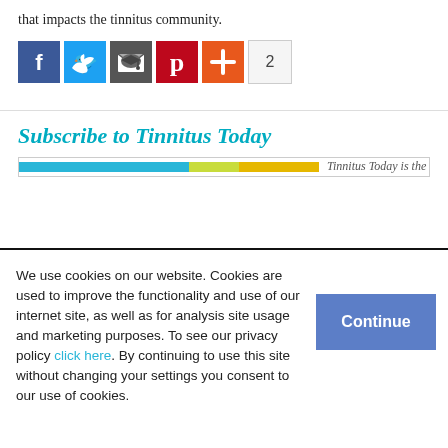that impacts the tinnitus community.
[Figure (other): Social sharing buttons: Facebook (blue), Twitter (light blue), Email/newsletter (dark grey), Pinterest (red), More/plus (orange-red), and a share count of 2]
Subscribe to Tinnitus Today
[Figure (other): A horizontal progress bar with blue, green/yellow, and gold segments, followed by partial text 'Tinnitus Today is the']
We use cookies on our website. Cookies are used to improve the functionality and use of our internet site, as well as for analysis site usage and marketing purposes. To see our privacy policy click here. By continuing to use this site without changing your settings you consent to our use of cookies.